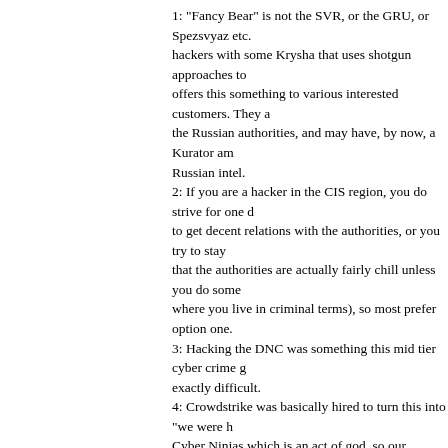1: "Fancy Bear" is not the SVR, or the GRU, or Spezsvyaz etc. hackers with some Krysha that uses shotgun approaches to offers this something to various interested customers. They a the Russian authorities, and may have, by now, a Kurator am Russian intel. 2: If you are a hacker in the CIS region, you do strive for one d to get decent relations with the authorities, or you try to stay that the authorities are actually fairly chill unless you do some where you live in criminal terms), so most prefer option one. 3: Hacking the DNC was something this mid tier cyber crime g exactly difficult. 4: Crowdstrike was basically hired to turn this into "we were h Cyber Ninjas which is an act of god, so our keystone cops cy fault etc. ." 5: GRU was mildly displeased by considerable parts of the we fancy bear represents their hacking skill level. Spy organizatio protect. The awnswer was the pretty epic hack of the equatio Brokers" (heard 3 version about them, either they are just an cyber group with somewaht better relations with the authoritie GRU smurf as them while GRU was hacking the hell out of th SVRs equation group equivalent and the SVR was trolling the things for them, or that they were the GRUs equation group e